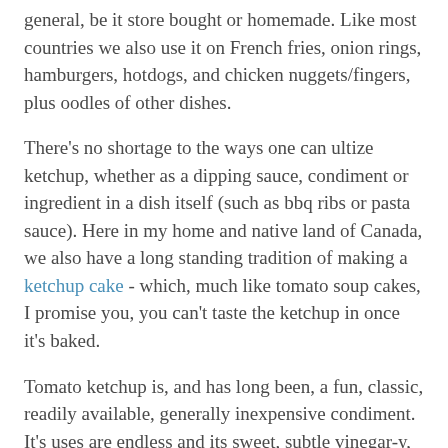general, be it store bought or homemade. Like most countries we also use it on French fries, onion rings, hamburgers, hotdogs, and chicken nuggets/fingers, plus oodles of other dishes.
There's no shortage to the ways one can ultize ketchup, whether as a dipping sauce, condiment or ingredient in a dish itself (such as bbq ribs or pasta sauce). Here in my home and native land of Canada, we also have a long standing tradition of making a ketchup cake - which, much like tomato soup cakes, I promise you, you can't taste the ketchup in once it's baked.
Tomato ketchup is, and has long been, a fun, classic, readily available, generally inexpensive condiment. It's uses are endless and its sweet, subtle vinegar-y, pleasantly spiced tomato flavour has continued to appeal to generation after generation for many decades now (and in the case of Heinz's offering in particular, for 139 years), just as I suspect it always will.
So while I may no longer bat my little eyelashes and politely